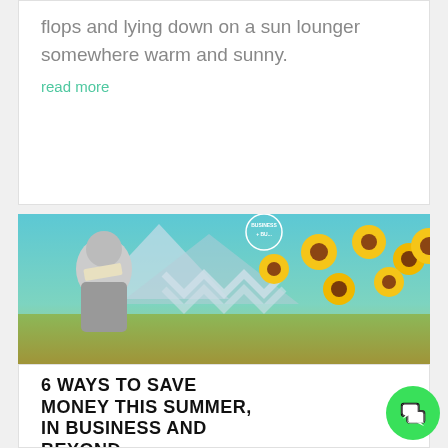flops and lying down on a sun lounger somewhere warm and sunny.
read more
[Figure (photo): Collage image featuring a woman in black and white holding money, surrounded by bright yellow sunflowers and mountain scenery with a teal/turquoise background. Text reads 'BUSINESS + BU...' in a circular badge.]
6 WAYS TO SAVE MONEY THIS SUMMER, IN BUSINESS AND BEYOND
It's no secret that we're all feeling